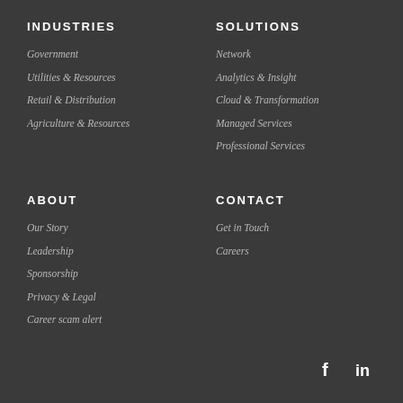INDUSTRIES
Government
Utilities & Resources
Retail & Distribution
Agriculture & Resources
SOLUTIONS
Network
Analytics & Insight
Cloud & Transformation
Managed Services
Professional Services
ABOUT
Our Story
Leadership
Sponsorship
Privacy & Legal
Career scam alert
CONTACT
Get in Touch
Careers
[Figure (logo): Facebook and LinkedIn social media icons in white]